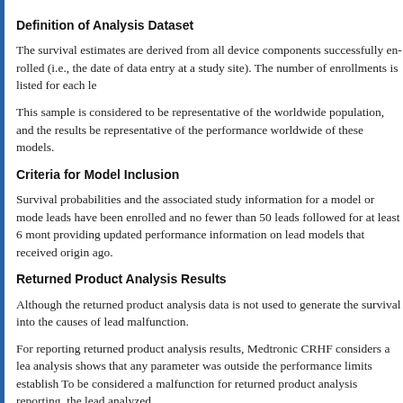Definition of Analysis Dataset
The survival estimates are derived from all device components successfully enrolled (i.e., the date of data entry at a study site). The number of enrollments is listed for each lead model.
This sample is considered to be representative of the worldwide population, and the results be representative of the performance worldwide of these models.
Criteria for Model Inclusion
Survival probabilities and the associated study information for a model or model family are presented when no fewer than 300 leads have been enrolled and no fewer than 50 leads followed for at least 6 months. An exception is made for providing updated performance information on lead models that received original approval more than 10 years ago.
Returned Product Analysis Results
Although the returned product analysis data is not used to generate the survival estimates, it does provide insight into the causes of lead malfunction.
For reporting returned product analysis results, Medtronic CRHF considers a lead to have malfunctioned if the analysis shows that any parameter was outside the performance limits established for that device during the analysis. To be considered a malfunction for returned product analysis reporting, the lead must have been functional when analyzed.
The results of the analysis are presented in four categories. The lead reporting c